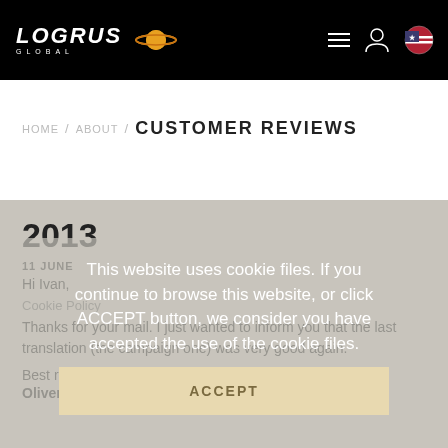[Figure (logo): Logrus Global logo with planet icon on black header bar, plus hamburger menu, user icon, and US flag icon on the right]
HOME / ABOUT / CUSTOMER REVIEWS
2013
11 JUNE
Hi Ivan,
Cookie Policy
Thanks for your mail. I just wanted to inform you that the last translation (the campaign one) was very good again.
Best regards,
Oliver
This website uses cookie files. If you continue to browse this website, or click ACCEPT button, we consider you have accepted the use of the cookie files.
ACCEPT